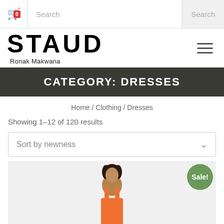[Figure (screenshot): E-commerce website header with cart icon (badge showing 0), search input field, and Search button]
[Figure (logo): STAUD brand logo in large bold black letters with subtitle 'Ronak Makwana' and hamburger menu icon on right]
CATEGORY: DRESSES
Home / Clothing / Dresses
Showing 1–12 of 120 results
Sort by newness
[Figure (photo): Product photo of a woman wearing an orange dress on a light gray background with a 'Sale!' badge in green]